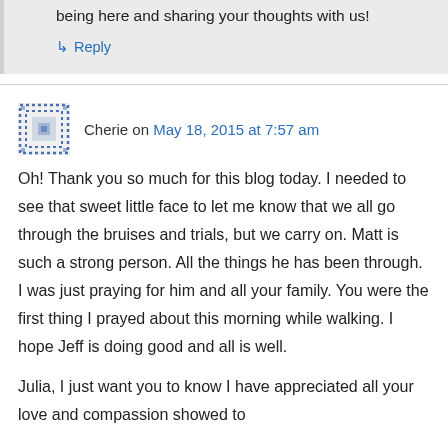being here and sharing your thoughts with us!
↳ Reply
Cherie on May 18, 2015 at 7:57 am
Oh! Thank you so much for this blog today. I needed to see that sweet little face to let me know that we all go through the bruises and trials, but we carry on. Matt is such a strong person. All the things he has been through. I was just praying for him and all your family. You were the first thing I prayed about this morning while walking. I hope Jeff is doing good and all is well.
Julia, I just want you to know I have appreciated all your love and compassion showed to